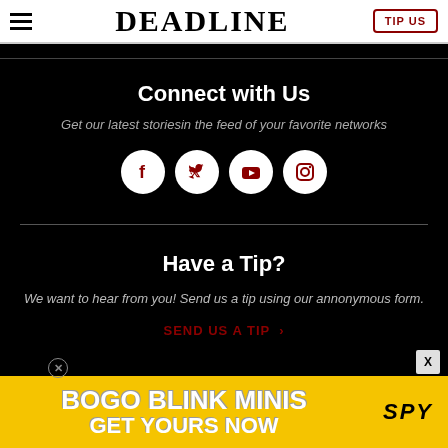DEADLINE | TIP US
Connect with Us
Get our latest storiesin the feed of your favorite networks
[Figure (infographic): Four social media icons (Facebook, Twitter, YouTube, Instagram) as white circles with dark red icons on black background]
Have a Tip?
We want to hear from you! Send us a tip using our annonymous form.
SEND US A TIP >
[Figure (infographic): Advertisement banner: BOGO BLINK MINIS GET YOURS NOW with SPY logo on yellow background]